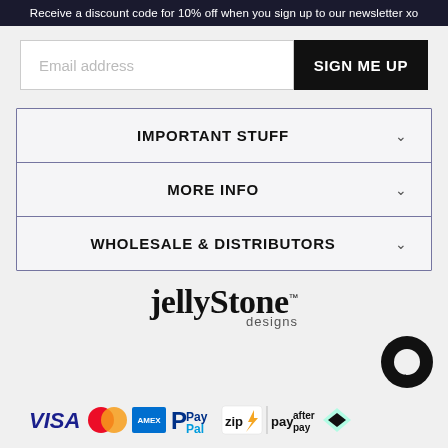Receive a discount code for 10% off when you sign up to our newsletter xo
Email address
SIGN ME UP
IMPORTANT STUFF
MORE INFO
WHOLESALE & DISTRIBUTORS
[Figure (logo): Jellystone Designs logo in handwritten style font with 'designs' subtitle]
[Figure (infographic): Payment method icons: VISA, Mastercard, American Express, PayPal, zip, pay, afterpay]